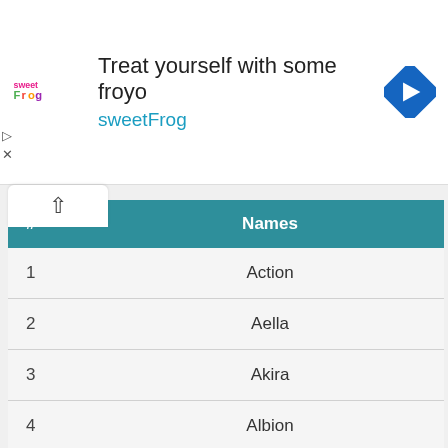[Figure (screenshot): sweetFrog frozen yogurt advertisement banner with logo, text 'Treat yourself with some froyo' and 'sweetFrog', and a blue navigation arrow icon]
| # | Names |
| --- | --- |
| 1 | Action |
| 2 | Aella |
| 3 | Akira |
| 4 | Albion |
| 5 | Aldis |
| 6 | Althea |